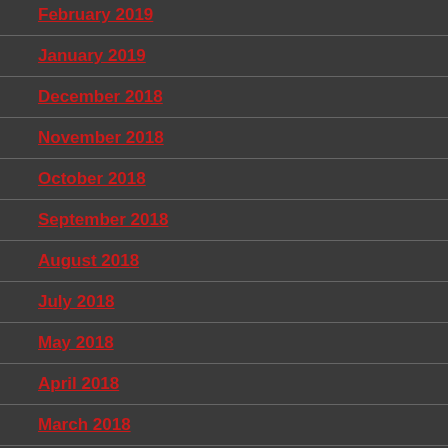February 2019
January 2019
December 2018
November 2018
October 2018
September 2018
August 2018
July 2018
May 2018
April 2018
March 2018
February 2018
January 2018